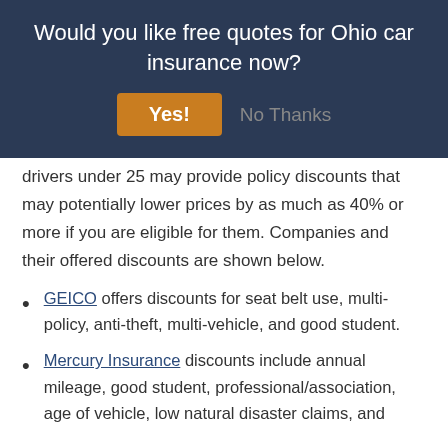Would you like free quotes for Ohio car insurance now?
Car insurance companies that provide policies for drivers under 25 may provide policy discounts that may potentially lower prices by as much as 40% or more if you are eligible for them. Companies and their offered discounts are shown below.
GEICO offers discounts for seat belt use, multi-policy, anti-theft, multi-vehicle, and good student.
Mercury Insurance discounts include annual mileage, good student, professional/association, age of vehicle, low natural disaster claims, and